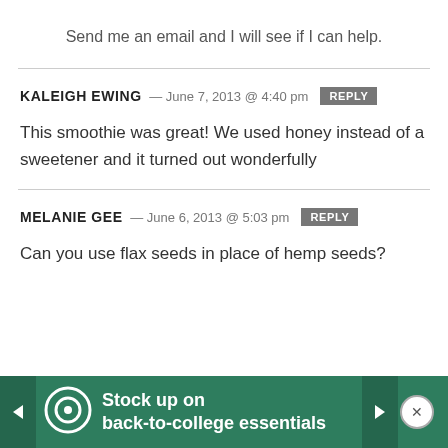Send me an email and I will see if I can help.
KALEIGH EWING — June 7, 2013 @ 4:40 pm [REPLY]
This smoothie was great! We used honey instead of a sweetener and it turned out wonderfully
MELANIE GEE — June 6, 2013 @ 5:03 pm [REPLY]
Can you use flax seeds in place of hemp seeds?
[Figure (infographic): Advertisement banner: Target store ad with circular logo, text 'Stock up on back-to-college essentials', with navigation arrows and close button]